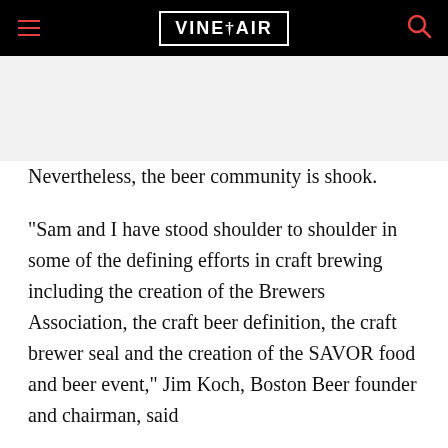VINEPAIR
Nevertheless, the beer community is shook.
“Sam and I have stood shoulder to shoulder in some of the defining efforts in craft brewing including the creation of the Brewers Association, the craft beer definition, the craft brewer seal and the creation of the SAVOR food and beer event,” Jim Koch, Boston Beer founder and chairman, said